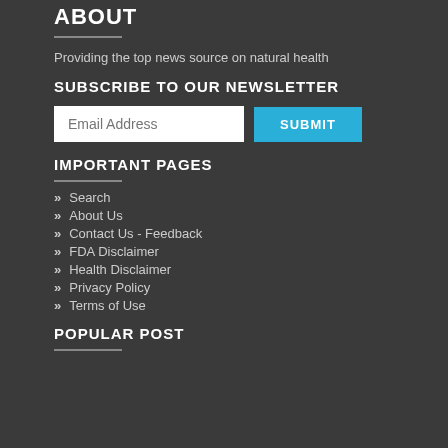ABOUT
Providing the top news source on natural health
SUBSCRIBE TO OUR NEWSLETTER
Email Address | SUBMIT
IMPORTANT PAGES
Search
About Us
Contact Us - Feedback
FDA Disclaimer
Health Disclaimer
Privacy Policy
Terms of Use
POPULAR POST